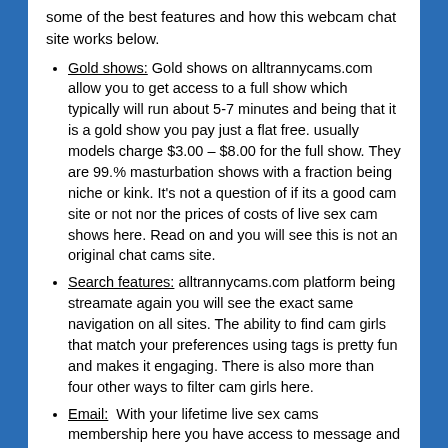some of the best features and how this webcam chat site works below.
Gold shows: Gold shows on alltrannycams.com allow you to get access to a full show which typically will run about 5-7 minutes and being that it is a gold show you pay just a flat free. usually models charge $3.00 – $8.00 for the full show. They are 99.% masturbation shows with a fraction being niche or kink. It's not a question of if its a good cam site or not nor the prices of costs of live sex cam shows here. Read on and you will see this is not an original chat cams site.
Search features: alltrannycams.com platform being streamate again you will see the exact same navigation on all sites. The ability to find cam girls that match your preferences using tags is pretty fun and makes it engaging. There is also more than four other ways to filter cam girls here.
Email:  With your lifetime live sex cams membership here you have access to message and chat with